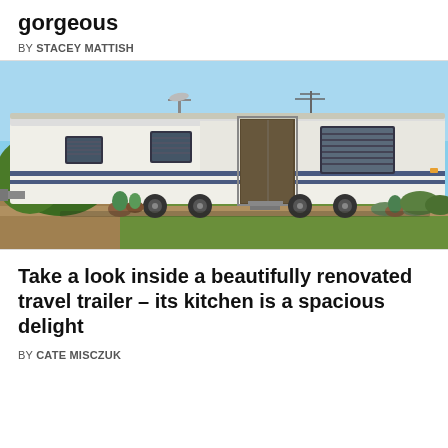gorgeous
BY STACEY MATTISH
[Figure (photo): Exterior view of a large white travel trailer/RV parked on a grass lawn with blue sky, shrubs, and potted plants around it. The trailer has blue stripe accents and an open door.]
Take a look inside a beautifully renovated travel trailer – its kitchen is a spacious delight
BY CATE MISCZUK